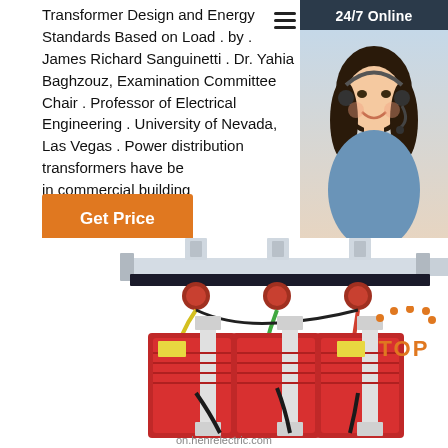Transformer Design and Energy Standards Based on Load . by . James Richard Sanguinetti . Dr. Yahia Baghzouz, Examination Committee Chair . Professor of Electrical Engineering . University of Nevada, Las Vegas . Power distribution transformers have be... in commercial building
Get Price
24/7 Online
[Figure (photo): Customer service representative woman with headset smiling]
Click here for free chat !
QUOTATION
[Figure (photo): Red dry-type power distribution transformer with three phases, yellow and colored cables on top]